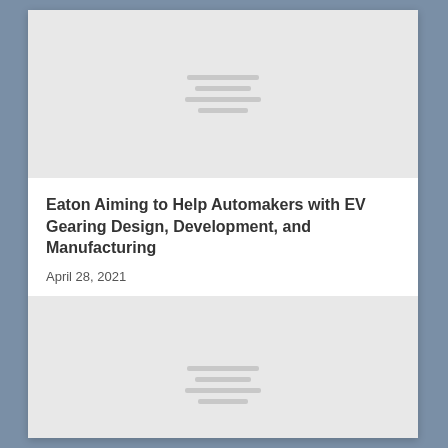[Figure (illustration): Gray placeholder image block at top of article card]
Eaton Aiming to Help Automakers with EV Gearing Design, Development, and Manufacturing
April 28, 2021
[Figure (illustration): Gray placeholder image block at bottom of article card]